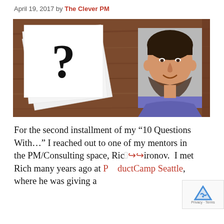April 19, 2017 by The Clever PM
[Figure (photo): Photo collage showing a stack of white cards with a large question mark on a wooden table background, alongside a headshot photo of a smiling man with dark curly hair and beard wearing a purple shirt.]
For the second installment of my “10 Questions With…” I reached out to one of my mentors in the PM/Consulting space, Ric→→ironov. I met Rich many years ago at ProductCamp Seattle, where he was giving a